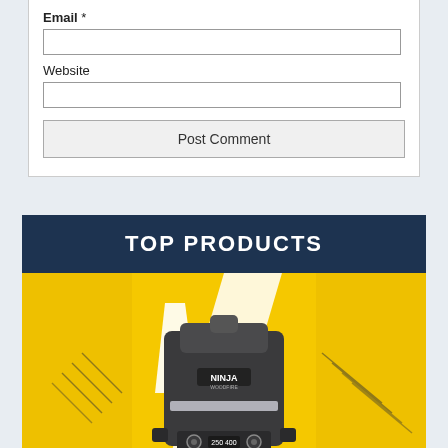Email *
Website
Post Comment
TOP PRODUCTS
[Figure (photo): Ninja branded indoor grill/air fryer appliance shown against a yellow and white graphic background with dynamic diagonal lines]